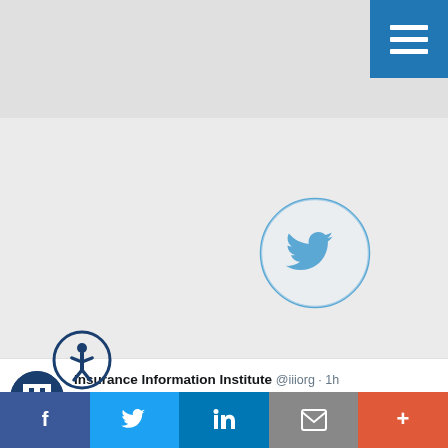[Figure (screenshot): Gray website header area with blue hamburger menu button in top-right corner]
[Figure (logo): Twitter bird icon inside a circle outline, blue color]
Insurance Information Institute @iiiorg · 1h
Floods occur in every region. Ninety percent of natu disasters in the U.S. involve some type of flooding. offers tips on how to minimize the damage from a fl bit.ly/2AFk2fe #NationalPreparednessMonth #Disas
[Figure (photo): Flooded house/building with water visible, reddish-brown house in background with green trees]
[Figure (logo): Accessibility icon (person in circle) in dark blue]
[Figure (infographic): Bottom social sharing bar with Facebook, Twitter, LinkedIn, Email, and More buttons]